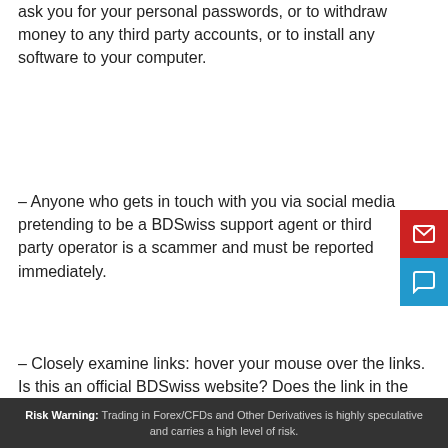ask you for your personal passwords, or to withdraw money to any third party accounts, or to install any software to your computer.
– Anyone who gets in touch with you via social media pretending to be a BDSwiss support agent or third party operator is a scammer and must be reported immediately.
– Closely examine links: hover your mouse over the links. Is this an official BDSwiss website? Does the link in the email match what appears when the mouse hovers over it?
– Always confirm the sender's identity before replying to any email requests and before opening attachments or clicking on links, even if they appear to come from a legitimate source.
Risk Warning: Trading in Forex/CFDs and Other Derivatives is highly speculative and carries a high level of risk.